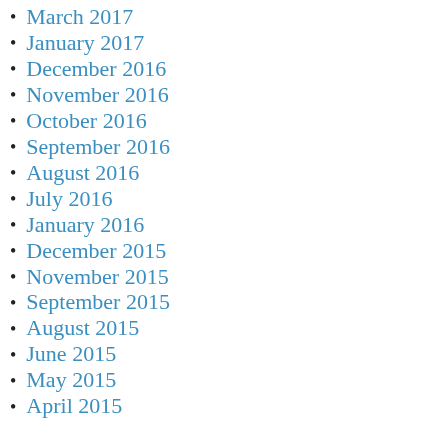March 2017
January 2017
December 2016
November 2016
October 2016
September 2016
August 2016
July 2016
January 2016
December 2015
November 2015
September 2015
August 2015
June 2015
May 2015
April 2015